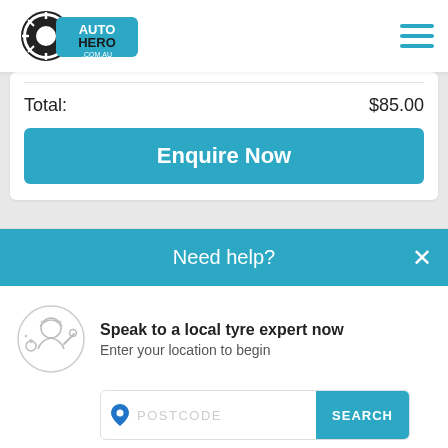[Figure (logo): Auto Hero .com.au logo with tyre graphic on the left and hamburger menu icon on the right]
Total: $85.00
Enquire Now
Need help?
Speak to a local tyre expert now
Enter your location to begin
POSTCODE
SEARCH